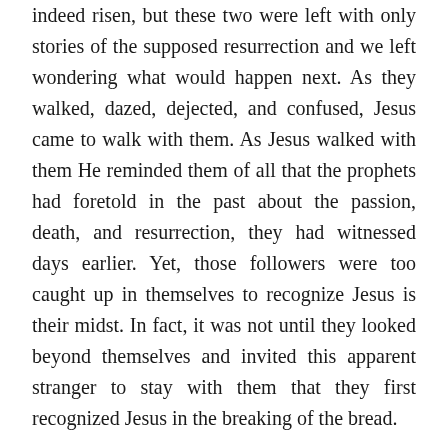indeed risen, but these two were left with only stories of the supposed resurrection and we left wondering what would happen next. As they walked, dazed, dejected, and confused, Jesus came to walk with them. As Jesus walked with them He reminded them of all that the prophets had foretold in the past about the passion, death, and resurrection, they had witnessed days earlier. Yet, those followers were too caught up in themselves to recognize Jesus is their midst. In fact, it was not until they looked beyond themselves and invited this apparent stranger to stay with them that they first recognized Jesus in the breaking of the bread.
Friends, I dare say each of us is one of those disciples on the road to Emmaus. Most of us have heard Jesus, come to believe Him and are walking